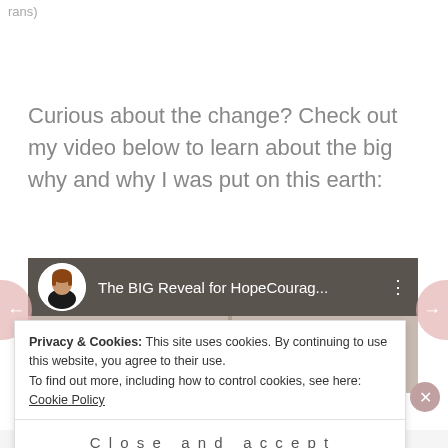rans)
Curious about the change? Check out my video below to learn about the big why and why I was put on this earth:
[Figure (screenshot): YouTube video thumbnail showing 'The BIG Reveal for HopeCourag...' with a person's avatar and face visible in the background]
Privacy & Cookies: This site uses cookies. By continuing to use this website, you agree to their use.
To find out more, including how to control cookies, see here: Cookie Policy
Close and accept